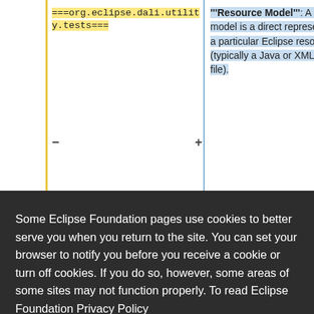===org.eclipse.dali.utility.tests===
"""Resource Model""": A resource model is a direct representation of a particular Eclipse resource (typically a Java or XML source file).
Some Eclipse Foundation pages use cookies to better serve you when you return to the site. You can set your browser to notify you before you receive a cookie or turn off cookies. If you do so, however, some areas of some sites may not function properly. To read Eclipse Foundation Privacy Policy
click here.
Decline
Allow cookies
generated model that